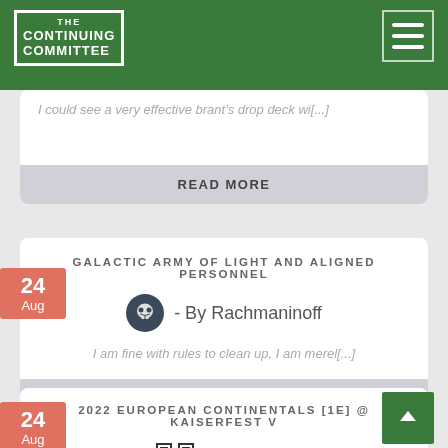THE CONTINUING COMMITTEE
I could see a very effective brant's drop deck wi[...]
READ MORE
GALACTIC ARMY OF LIGHT AND ALIGNED PERSONNEL
- By Rachmaninoff
I am fine with rules to clean up, I am merel[...]
READ MORE
2022 EUROPEAN CONTINENTALS [1E] @ KAISERFEST V
- By Kaiser